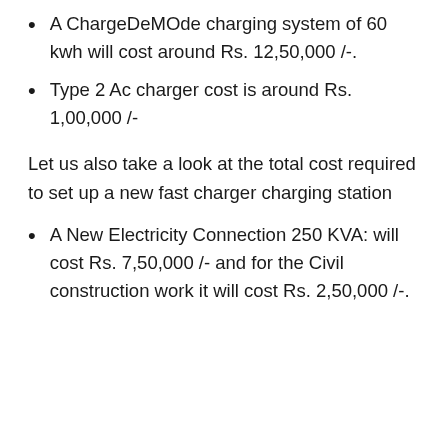A ChargeDeMOde charging system of 60 kwh will cost around Rs. 12,50,000 /-.
Type 2 Ac charger cost is around Rs. 1,00,000 /-
Let us also take a look at the total cost required to set up a new fast charger charging station
A New Electricity Connection 250 KVA: will cost Rs. 7,50,000 /- and for the Civil construction work it will cost Rs. 2,50,000 /-.